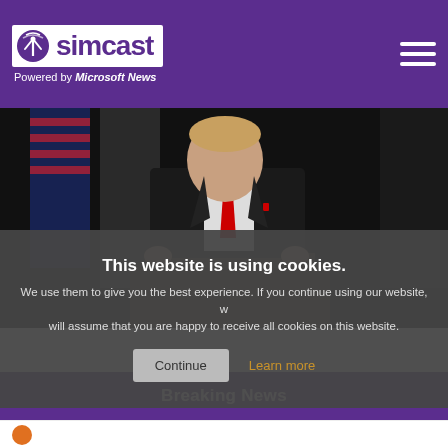simcast — Powered by Microsoft News
[Figure (photo): Man in dark suit with red tie speaking at a podium with microphones, American flag in background, dark setting]
This website is using cookies. We use them to give you the best experience. If you continue using our website, we will assume that you are happy to receive all cookies on this website. Continue | Learn more
Breaking News